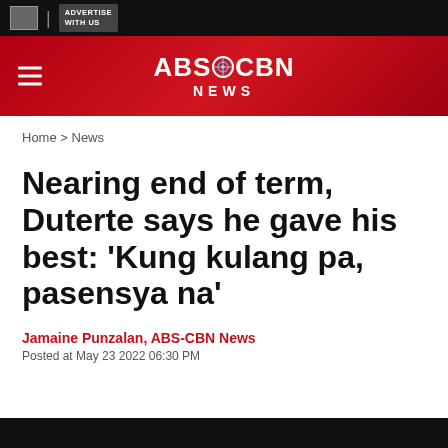ADVERTISE WITH US
[Figure (logo): ABS-CBN News logo on red background with hamburger menu icon]
Home > News
Nearing end of term, Duterte says he gave his best: 'Kung kulang pa, pasensya na'
Jamaine Punzalan, ABS-CBN News
Posted at May 23 2022 06:30 PM